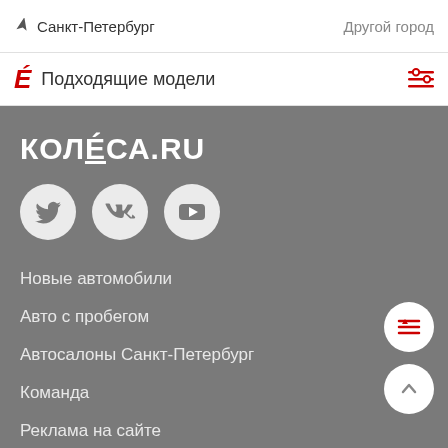Санкт-Петербург   Другой город
Подходящие модели
[Figure (logo): КОЛÉCA.RU logo in white bold text on grey background]
[Figure (illustration): Social media icons: Twitter, VK, YouTube - white circles on grey background]
Новые автомобили
Авто с пробегом
Автосалоны Санкт-Петербург
Команда
Реклама на сайте
Контакты